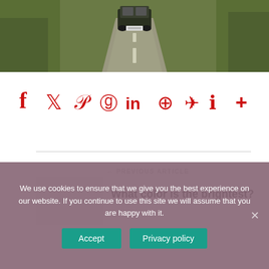[Figure (photo): A vehicle driving away on a rural dirt road with green vegetation on the sides, viewed from behind.]
[Figure (infographic): Social share icons in red: Facebook, Twitter, Pinterest, Reddit, LinkedIn, WhatsApp, Telegram, Messenger, and a plus/more button.]
← PREVIOUS ARTICLE
What color is the brightest?
We use cookies to ensure that we give you the best experience on our website. If you continue to use this site we will assume that you are happy with it.